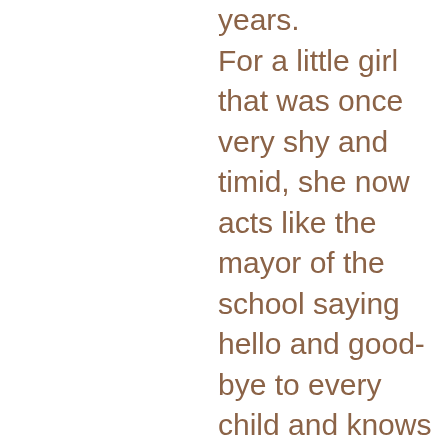years. For a little girl that was once very shy and timid, she now acts like the mayor of the school saying hello and good-bye to every child and knows almost every child in the school by name. Over the years she not only learned to read, but also learned sign language, Spanish, and so much more. She has built incredible and adorable friendships, and paved the way for me to make amazing new friends with the other moms at the school. I often feel that family life is filled with craziness and chaos, and it's wonderful to have friends that share similar experiences and can help you laugh and smile through it